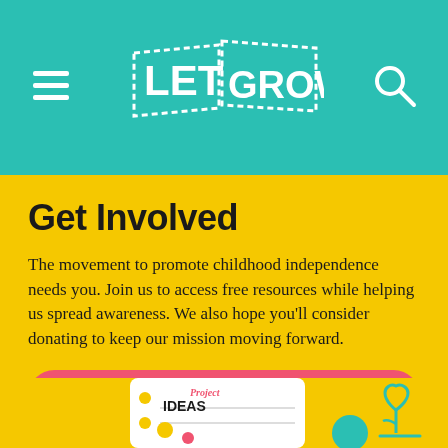[Figure (logo): Let Grow logo in white on teal header background with hamburger menu icon on left and search icon on right]
Get Involved
The movement to promote childhood independence needs you. Join us to access free resources while helping us spread awareness. We also hope you'll consider donating to keep our mission moving forward.
JOIN LET GROW
DONATE
[Figure (illustration): Partial view of Project Ideas card and a heart/plant illustration at the bottom of the page]